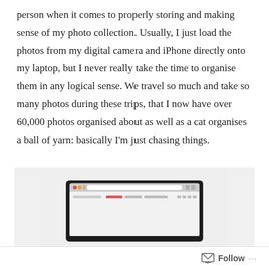person when it comes to properly storing and making sense of my photo collection. Usually, I just load the photos from my digital camera and iPhone directly onto my laptop, but I never really take the time to organise them in any logical sense. We travel so much and take so many photos during these trips, that I now have over 60,000 photos organised about as well as a cat organises a ball of yarn: basically I'm just chasing things.
[Figure (photo): A laptop computer with a browser open, shown against a light grey/white background. The laptop has a dark/black frame and the screen shows a browser with a light-coloured website.]
Follow ...